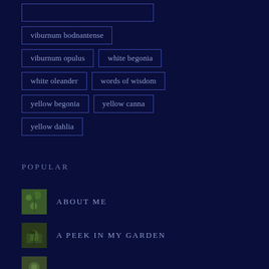viburnum bodnantense
viburnum opulus
white begonia
white oleander
words of wisdom
yellow begonia
yellow canna
yellow dahlia
POPULAR
ABOUT ME
A PEEK IN MY GARDEN